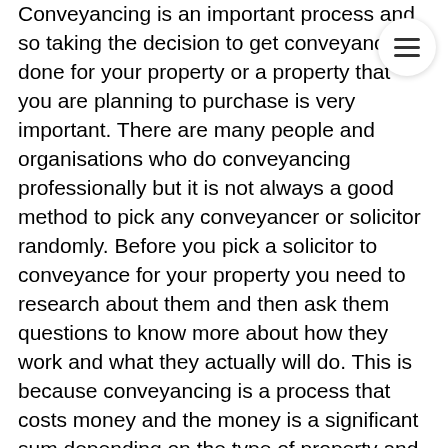Conveyancing is an important process and so taking the decision to get conveyancing done for your property or a property that you are planning to purchase is very important. There are many people and organisations who do conveyancing professionally but it is not always a good method to pick any conveyancer or solicitor randomly. Before you pick a solicitor to conveyance for your property you need to research about them and then ask them questions to know more about how they work and what they actually will do. This is because conveyancing is a process that costs money and the money is a significant sum depending on the type of property and the type of conveyancer that you pick.

The question now is what the range are of fees that conveyancing solicitors charge and how are they justified? Generally, a conveyancer who is doing residential conveyancing for you will charge a fee between one thousand to two thousand five hundred pounds. On the other hand, the same conveyancer will charge five hundred or one thousand more for a commercial